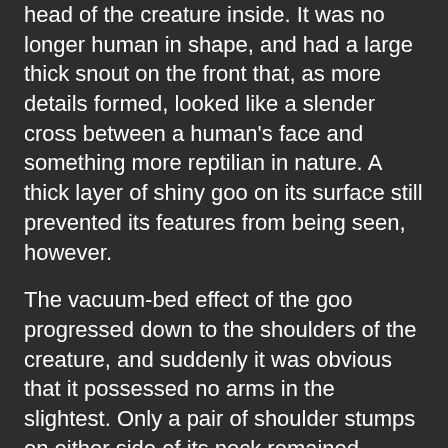amorphous shape slowly gained form, staring at the head of the creature inside. It was no longer human in shape, and had a large thick snout on the front that, as more details formed, looked like a slender cross between a human's face and something more reptilian in nature. A thick layer of shiny goo on its surface still prevented its features from being seen, however.
The vacuum-bed effect of the goo progressed down to the shoulders of the creature, and suddenly it was obvious that it possessed no arms in the slightest. Only a pair of shoulder stumps on either side of its neck remained.
As the goo continued down the creature's body, it was clear that all the humanoid features to come were already complete, and the further down the body the goo squeezed down on, the more obvious it was that the rest of the considerable mass inside the goo would be one exceedingly long snake tail. As time went on, all